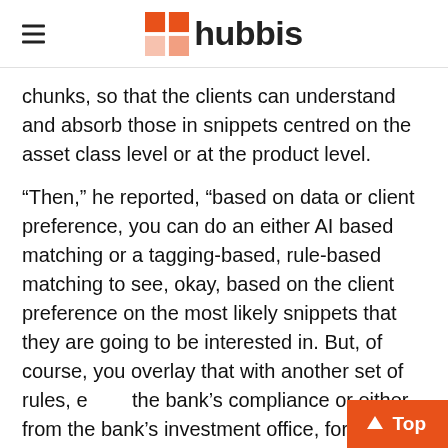hubbis
chunks, so that the clients can understand and absorb those in snippets centred on the asset class level or at the product level.
“Then,” he reported, “based on data or client preference, you can do an either AI based matching or a tagging-based, rule-based matching to see, okay, based on the client preference on the most likely snippets that they are going to be interested in. But, of course, you overlay that with another set of rules, either the bank’s compliance or either from the bank’s investment office, for example if a bank prefers